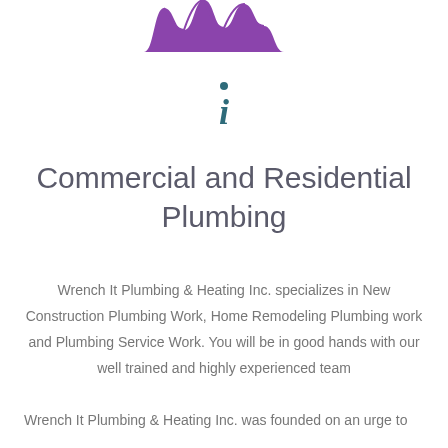[Figure (logo): Purple decorative wave/logo shape at top of page]
[Figure (other): Teal italic info icon with dot above and letter i below]
Commercial and Residential Plumbing
Wrench It Plumbing & Heating Inc. specializes in New Construction Plumbing Work, Home Remodeling Plumbing work and Plumbing Service Work. You will be in good hands with our well trained and highly experienced team
Wrench It Plumbing & Heating Inc. was founded on an urge to